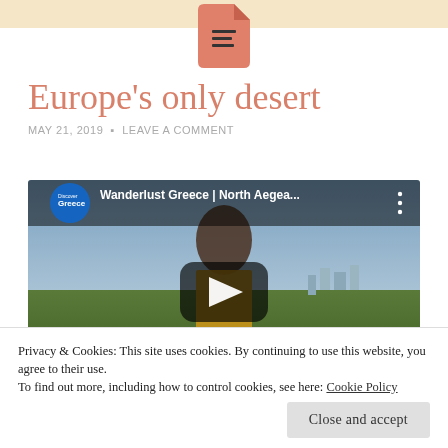Europe's only desert
MAY 21, 2019 • LEAVE A COMMENT
[Figure (screenshot): YouTube video thumbnail showing a woman holding grapes, titled 'Wanderlust Greece | North Aegea...' with Discover Greece channel logo and play button overlay]
Privacy & Cookies: This site uses cookies. By continuing to use this website, you agree to their use.
To find out more, including how to control cookies, see here: Cookie Policy
Close and accept